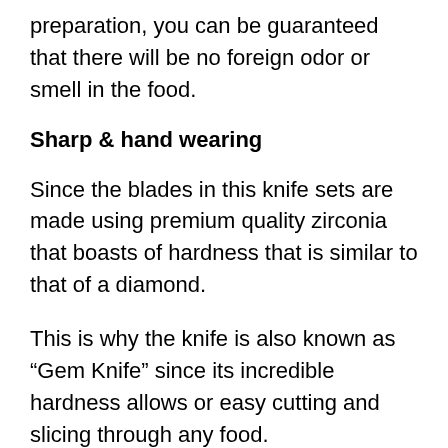preparation, you can be guaranteed that there will be no foreign odor or smell in the food.
Sharp & hand wearing
Since the blades in this knife sets are made using premium quality zirconia that boasts of hardness that is similar to that of a diamond.
This is why the knife is also known as “Gem Knife” since its incredible hardness allows or easy cutting and slicing through any food.
The blade is super sharp thereby making the blade